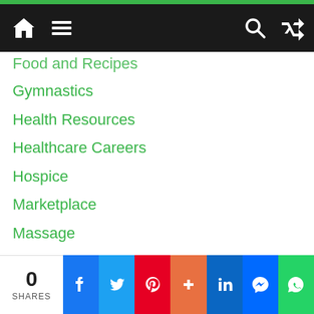Navigation bar with home, menu, search, and shuffle icons
Food and Recipes
Gymnastics
Health Resources
Healthcare Careers
Hospice
Marketplace
Massage
Medical
Mental Health
Mobility
Nutrition
Physical Therapy/Rehab
0 SHARES — social share bar: Facebook, Twitter, Pinterest, Plus, LinkedIn, Messenger, WhatsApp